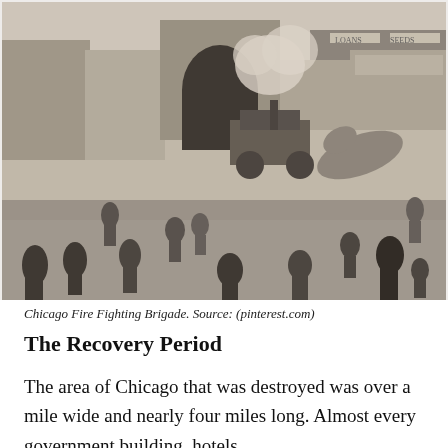[Figure (photo): Black and white historical photograph showing the Chicago Fire Fighting Brigade. A busy street scene with people running, horses, a steam-powered fire engine emitting smoke, storefronts in the background including signs partially visible.]
Chicago Fire Fighting Brigade. Source: (pinterest.com)
The Recovery Period
The area of Chicago that was destroyed was over a mile wide and nearly four miles long. Almost every government building, hotels,